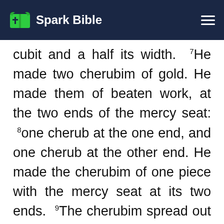Spark Bible
cubit and a half its width. 7He made two cherubim of gold. He made them of beaten work, at the two ends of the mercy seat: 8one cherub at the one end, and one cherub at the other end. He made the cherubim of one piece with the mercy seat at its two ends. 9The cherubim spread out their wings above, covering the mercy seat with their wings, with their faces toward one another. The